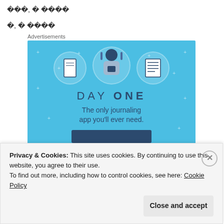???, ? ????
?, ? ????
Advertisements
[Figure (illustration): Day One journaling app advertisement with blue background, showing a person holding a phone flanked by notebook icons, with text 'DAY ONE - The only journaling app you'll ever need.']
Privacy & Cookies: This site uses cookies. By continuing to use this website, you agree to their use.
To find out more, including how to control cookies, see here: Cookie Policy
Close and accept